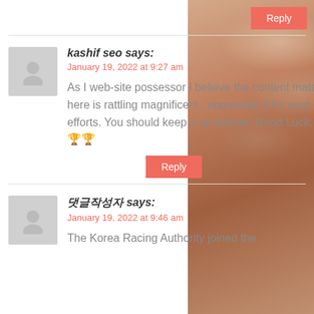Reply
kashif seo says:
January 19, 2022 at 9:27 am
As I web-site possessor I believe the content material here is rattling magnificent , appreciate it for your efforts. You should keep it up forever! Good Luck. 🏆🏆🏆
Reply
댓글작성자 says:
January 19, 2022 at 9:46 am
The Korea Racing Authority joined the